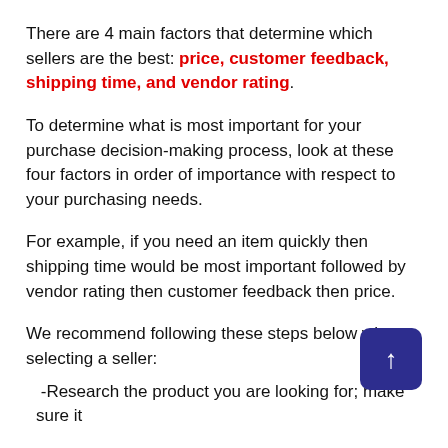There are 4 main factors that determine which sellers are the best: price, customer feedback, shipping time, and vendor rating.
To determine what is most important for your purchase decision-making process, look at these four factors in order of importance with respect to your purchasing needs.
For example, if you need an item quickly then shipping time would be most important followed by vendor rating then customer feedback then price.
We recommend following these steps below when selecting a seller:
-Research the product you are looking for; make sure it